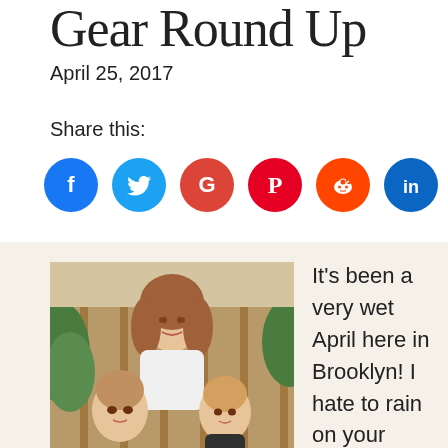Gear Round Up
April 25, 2017
Share this:
[Figure (infographic): Social media sharing icons: Facebook (blue), Twitter (light blue), Google (red), Pinterest (red), Reddit (orange-red), LinkedIn (blue), Email (gray)]
[Figure (photo): A woman with two young children, smiling outdoors near ferns and a wooden fence.]
It's been a very wet April here in Brooklyn! I hate to rain on your parade, but gear like raincoats, rain